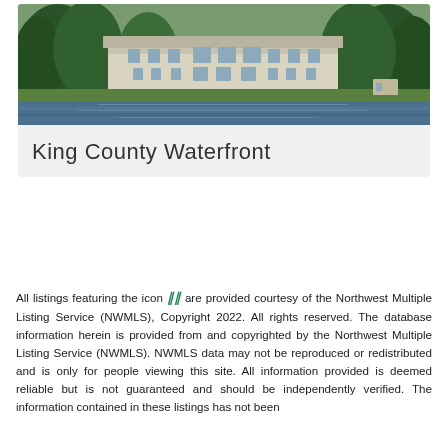[Figure (photo): Aerial/waterfront view of a large white multi-story estate house on the water surrounded by dense green trees, King County waterfront property]
King County Waterfront
All listings featuring the icon [NWMLS icon] are provided courtesy of the Northwest Multiple Listing Service (NWMLS), Copyright 2022. All rights reserved. The database information herein is provided from and copyrighted by the Northwest Multiple Listing Service (NWMLS). NWMLS data may not be reproduced or redistributed and is only for people viewing this site. All information provided is deemed reliable but is not guaranteed and should be independently verified. The information contained in these listings has not been